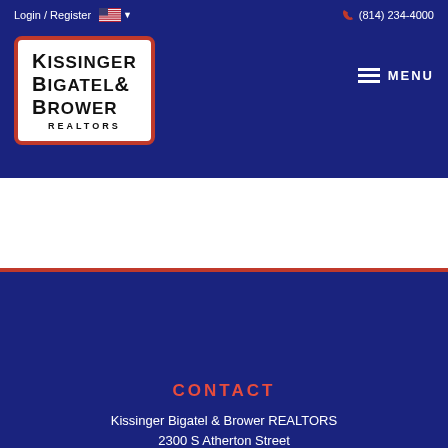Login / Register  (814) 234-4000
[Figure (logo): Kissinger Bigatel & Brower REALTORS logo — white box with red border, bold black uppercase text]
MENU
CONTACT
Kissinger Bigatel & Brower REALTORS
2300 S Atherton Street